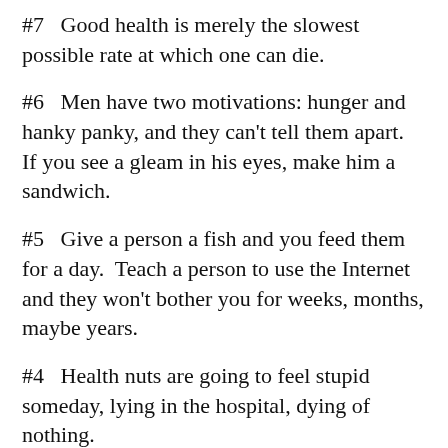#7   Good health is merely the slowest possible rate at which one can die.
#6   Men have two motivations: hunger and hanky panky, and they can't tell them apart.  If you see a gleam in his eyes, make him a sandwich.
#5   Give a person a fish and you feed them for a day.  Teach a person to use the Internet and they won't bother you for weeks, months, maybe years.
#4   Health nuts are going to feel stupid someday, lying in the hospital, dying of nothing.
#3   All of us could take a lesson from the weather.  It pays no attention to criticism.
#2   In the 60's, people took acid to make the world